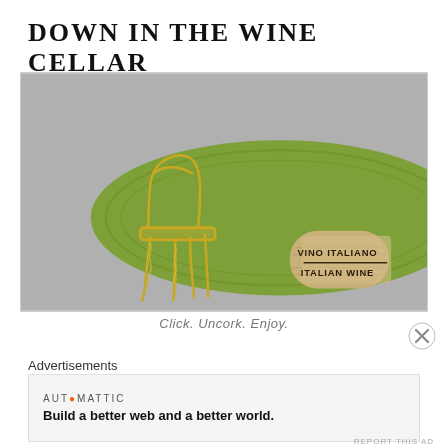DOWN IN THE WINE CELLAR
[Figure (photo): A miniature wire chair made from a champagne cage/muselet next to a wine cork labeled 'VINO ITALIANO ITALIAN WINE', resting on a green plate background.]
Click. Uncork. Enjoy.
Advertisements
AUTOMATTIC
Build a better web and a better world.